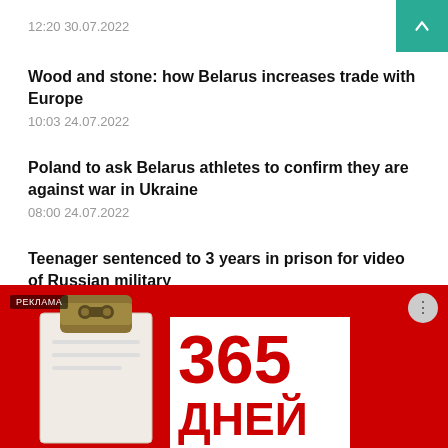12:20 30.07.2022
Wood and stone: how Belarus increases trade with Europe
10:03 24.07.2022
Poland to ask Belarus athletes to confirm they are against war in Ukraine
08:00 24.07.2022
Teenager sentenced to 3 years in prison for video of Russian military
11:45 20.07.2022
[Figure (photo): Advertisement banner showing a clipboard with text '365 ДНЕЙ' on red background. Label 'РЕКЛАМА' in top left corner.]